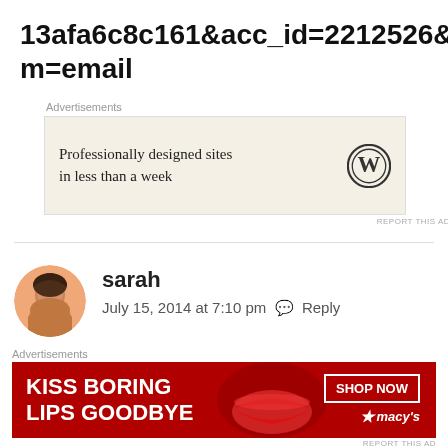13afa6c8c161&acc_id=2212526&medium=email
Advertisements
[Figure (screenshot): WordPress advertisement banner: 'Professionally designed sites in less than a week' with WordPress logo]
REPORT THIS AD
[Figure (photo): User avatar photo of Sarah - woman with dark hair]
sarah
July 15, 2014 at 7:10 pm  Reply
Advertisements
[Figure (screenshot): Macy's advertisement: 'KISS BORING LIPS GOODBYE' with SHOP NOW button and Macy's star logo, red background with lips image]
REPORT THIS AD